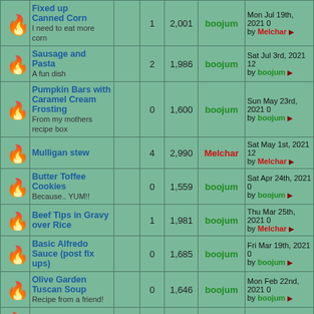| Icon | Topic |  | Replies | Views | Last Post Author | Last Post Date |
| --- | --- | --- | --- | --- | --- | --- |
| 🔥 | Fixed up Canned Corn / I need to eat more corn |  | 1 | 2,001 | boojum | Mon Jul 19th, 2021 0... by Melchar |
| 🔥 | Sausage and Pasta / A fun dish |  | 2 | 1,986 | boojum | Sat Jul 3rd, 2021 12... by boojum |
| 🔥 | Pumpkin Bars with Caramel Cream Frosting / From my mothers recipe box |  | 0 | 1,600 | boojum | Sun May 23rd, 2021 0... by boojum |
| 🔥 | Mulligan stew |  | 4 | 2,990 | Melchar | Sat May 1st, 2021 12... by Melchar |
| 🔥 | Butter Toffee Cookies / Because.. YUM!! |  | 0 | 1,559 | boojum | Sat Apr 24th, 2021 0... by boojum |
| 🔥 | Beef Tips in Gravy over Rice |  | 1 | 1,981 | boojum | Thu Mar 25th, 2021 0... by Melchar |
| 🔥 | Basic Alfredo Sauce (post fix ups) |  | 0 | 1,685 | boojum | Fri Mar 19th, 2021 0... by boojum |
| 🔥 | Olive Garden Tuscan Soup / Recipe from a friend! |  | 0 | 1,646 | boojum | Mon Feb 22nd, 2021 0... by boojum |
| 🔥 | Cream of... |  |  |  |  |  |